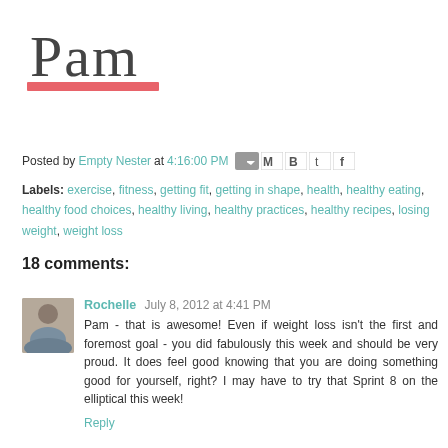[Figure (logo): Handwritten-style 'Pam' script logo with a red/coral underline banner]
Posted by Empty Nester at 4:16:00 PM [share icons]
Labels: exercise, fitness, getting fit, getting in shape, health, healthy eating, healthy food choices, healthy living, healthy practices, healthy recipes, losing weight, weight loss
18 comments:
Rochelle  July 8, 2012 at 4:41 PM
Pam - that is awesome! Even if weight loss isn't the first and foremost goal - you did fabulously this week and should be very proud. It does feel good knowing that you are doing something good for yourself, right? I may have to try that Sprint 8 on the elliptical this week!
Reply